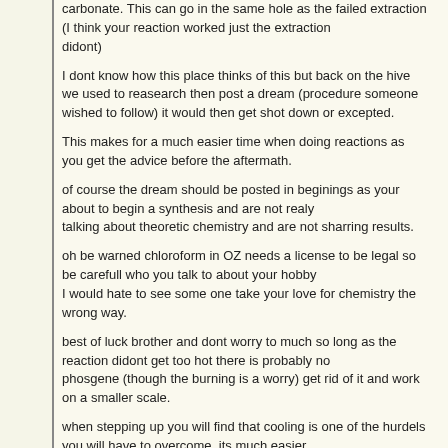carbonate. This can go in the same hole as the failed extraction (I think your reaction worked just the extraction didont)
I dont know how this place thinks of this but back on the hive we used to reasearch then post a dream (procedure someone wished to follow) it would then get shot down or excepted.
This makes for a much easier time when doing reactions as you get the advice before the aftermath.
of course the dream should be posted in beginings as your about to begin a synthesis and are not realy talking about theoretic chemistry and are not sharring results.
oh be warned chloroform in OZ needs a license to be legal so be carefull who you talk to about your hobby I would hate to see some one take your love for chemistry the wrong way.
best of luck brother and dont worry to much so long as the reaction didont get too hot there is probably no phosgene (though the burning is a worry) get rid of it and work on a smaller scale.
when stepping up you will find that cooling is one of the hurdels you will have to overcome. its much easier to cool a small solution than a large one.
stirring makes a massive difference when cooling larger solutions also never put a reaction like this into a bowl.
your asking to breath it in if you do this try and keep reaction